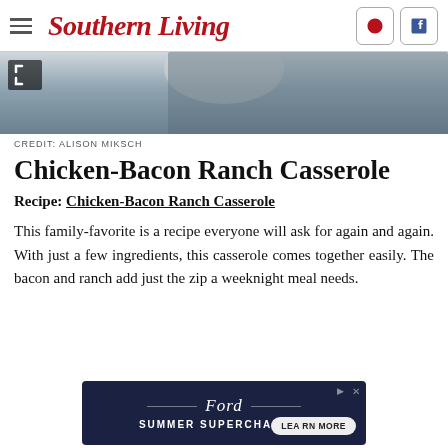Southern Living
[Figure (photo): Partial food photo showing a dish, grey/blue linen background, cropped at top]
CREDIT: ALISON MIKSCH
Chicken-Bacon Ranch Casserole
Recipe: Chicken-Bacon Ranch Casserole
This family-favorite is a recipe everyone will ask for again and again. With just a few ingredients, this casserole comes together easily. The bacon and ranch add just the zip a weeknight meal needs.
[Figure (screenshot): Ford Summer Supercharged advertisement banner with Learn More button]